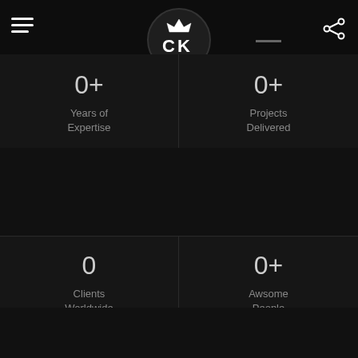CleverKings logo navigation
0+
Years of Expertise
0+
Projects Delivered
0
Clients Worldwide
0+
Awsome People